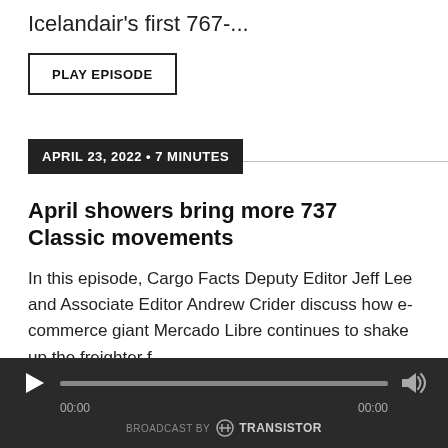Icelandair's first 767-...
PLAY EPISODE
APRIL 23, 2022 • 7 MINUTES
April showers bring more 737 Classic movements
In this episode, Cargo Facts Deputy Editor Jeff Lee and Associate Editor Andrew Crider discuss how e-commerce giant Mercado Libre continues to shake up the freighter f...
PLAY EPISODE
[Figure (other): Audio player bar with play button, progress bar, volume icon, time display (00:00 / 00:00), and 'BROADCAST BY Transistor' label]